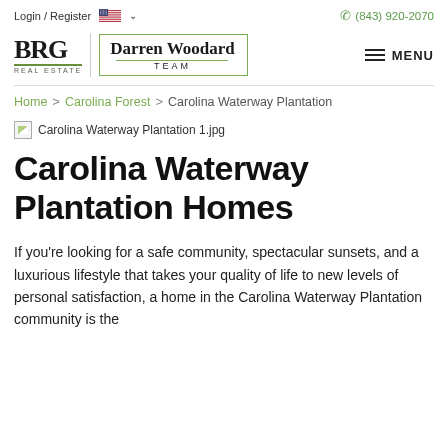Login / Register  (843) 920-2070
[Figure (logo): BRG Real Estate logo with Darren Woodard Team text in green-bordered box, and MENU button]
Home > Carolina Forest > Carolina Waterway Plantation
[Figure (photo): Broken image placeholder labeled Carolina Waterway Plantation 1.jpg]
Carolina Waterway Plantation Homes
If you're looking for a safe community, spectacular sunsets, and a luxurious lifestyle that takes your quality of life to new levels of personal satisfaction, a home in the Carolina Waterway Plantation community is the